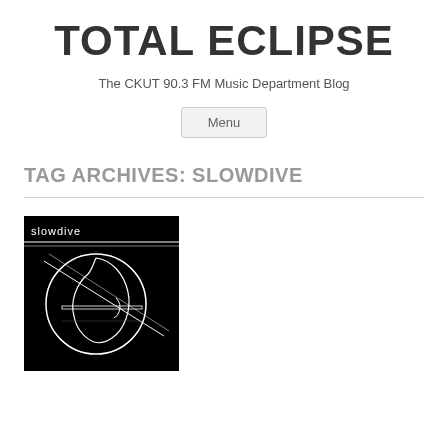TOTAL ECLIPSE
The CKUT 90.3 FM Music Department Blog
Menu
TAG ARCHIVES: SLOWDIVE
[Figure (photo): Black and white album art for Slowdive — shows a side profile silhouette of a human head in white lines against a black background, with the text 'slowdive' in the top left corner.]